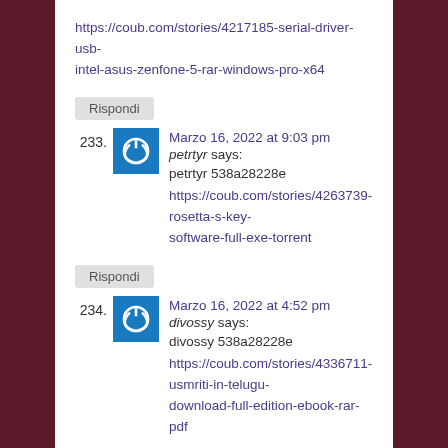https://coub.com/stories/4217185-serial-driver-usb-intel-asus-zenfone-5-rar-windows-pro-x64
Rispondi
233.
Marzo 16, 2022 at 9:03 pm
petrtyr says:
petrtyr 538a28228e
https://coub.com/stories/4263739-rosetta-s-key-software-full-exe-torrent
Rispondi
234.
Marzo 16, 2022 at 4:52 pm
divossy says:
divossy 538a28228e
https://coub.com/stories/4336711-usmriti-in-telugu-download-full-edition-ebook-rar-pdf
Rispondi